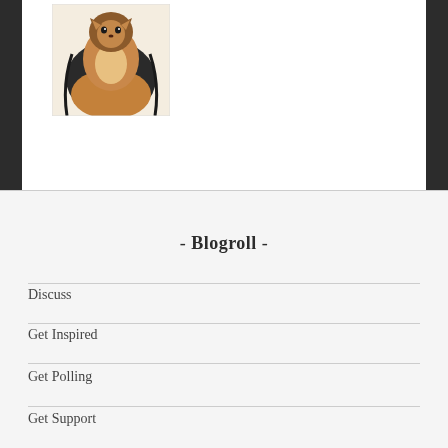[Figure (illustration): A pencil/colored drawing of two cats or animals hugging/sitting together, rendered in brown, black, and tan tones on white paper background.]
- Blogroll -
Discuss
Get Inspired
Get Polling
Get Support